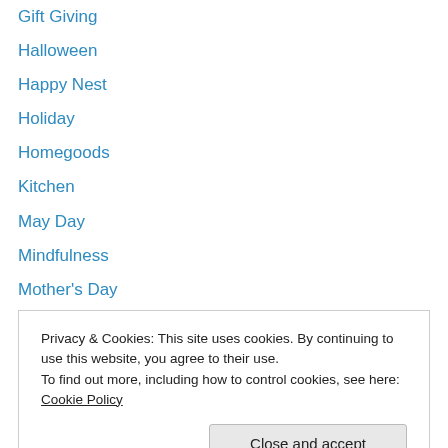Gift Giving
Halloween
Happy Nest
Holiday
Homegoods
Kitchen
May Day
Mindfulness
Mother's Day
Nature
Nesting in the belly
Nursery
Outdoor lounging
Privacy & Cookies: This site uses cookies. By continuing to use this website, you agree to their use. To find out more, including how to control cookies, see here: Cookie Policy
Shop Small